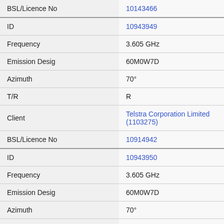| BSL/Licence No | 10143466 |
| ID | 10943949 |
| Frequency | 3.605 GHz |
| Emission Desig | 60M0W7D |
| Azimuth | 70° |
| T/R | R |
| Client | Telstra Corporation Limited (1103275) |
| BSL/Licence No | 10914942 |
| ID | 10943950 |
| Frequency | 3.605 GHz |
| Emission Desig | 60M0W7D |
| Azimuth | 70° |
| T/R | T |
| Client | Telstra Corporation Limited (1103275) |
| BSL/Licence No | 10914942 |
| ID | 10943951 |
| Frequency | 3.605 GHz |